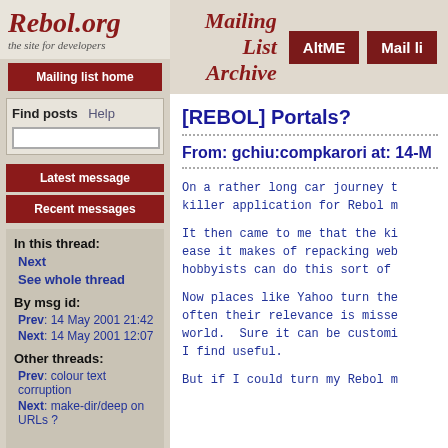Rebol.org
the site for developers
Mailing List Archive
Mailing list home
Find posts  Help
Latest message
Recent messages
In this thread:
Next
See whole thread
By msg id:
Prev: 14 May 2001 21:42
Next: 14 May 2001 12:07
Other threads:
Prev: colour text corruption
Next: make-dir/deep on URLs ?
[REBOL] Portals?
From: gchiu:compkarori at: 14-M
On a rather long car journey t killer application for Rebol m
It then came to me that the ki ease it makes of repacking web hobbyists can do this sort of
Now places like Yahoo turn the often their relevance is misse world.  Sure it can be customi I find useful.
But if I could turn my Rebol m